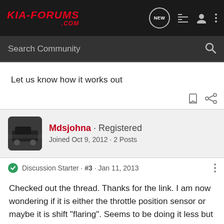KIA-FORUMS.COM
Search Community
Let us know how it works out
Mdsjohna · Registered
Joined Oct 9, 2012 · 2 Posts
Discussion Starter · #3 · Jan 11, 2013
Checked out the thread. Thanks for the link. I am now wondering if it is either the throttle position sensor or maybe it is shift "flaring". Seems to be doing it less but it still happens.